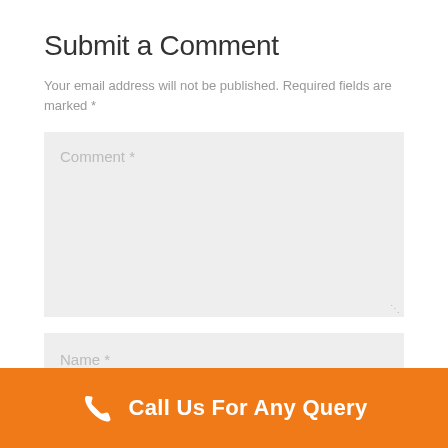Submit a Comment
Your email address will not be published. Required fields are marked *
Comment *
Name *
Call Us For Any Query